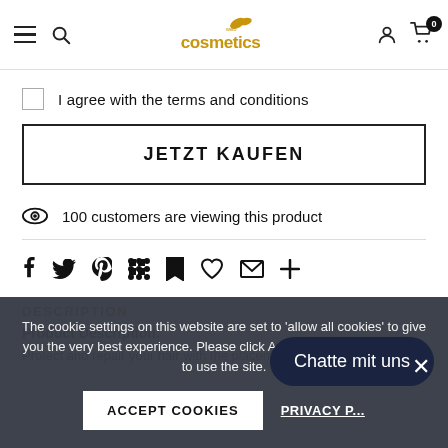webcosmetics — logo, hamburger menu, search, user icon, cart (0)
I agree with the terms and conditions
JETZT KAUFEN
100 customers are viewing this product
Social share icons: f, twitter, pinterest, grid, bookmark, heart, mail, +
DESCRIPTION
Product Description:
Protect and repair your hair with the placenta leave in conditioner.
The cookie settings on this website are set to 'allow all cookies' to give you the very best experience. Please click Accept Cookies to continue to use the site.
ACCEPT COOKIES
PRIVACY P...
Chatte mit uns